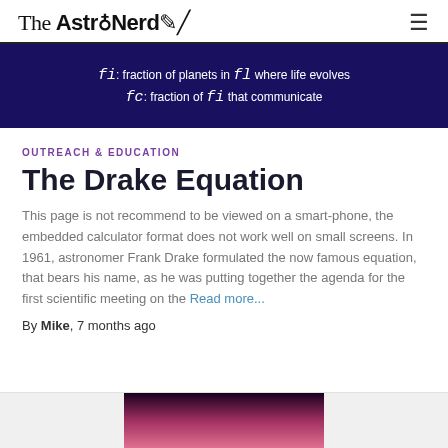The AstroNerd
[Figure (screenshot): Dark blue/purple background with white text showing Drake Equation variables: 'fi : fraction of planets in fl where life evolves' and 'fc : fraction of fi that communicate']
OUTREACH & EDUCATION
The Drake Equation
This page is not recommend to be viewed on a smart-phone, the embedded calculator format does not work well on small screens. In 1961, astronomer Frank Drake formulated the now famous equation, that bears his name, as he was putting together the agenda for the first scientific meeting on the Read more...
By Mike, 7 months ago